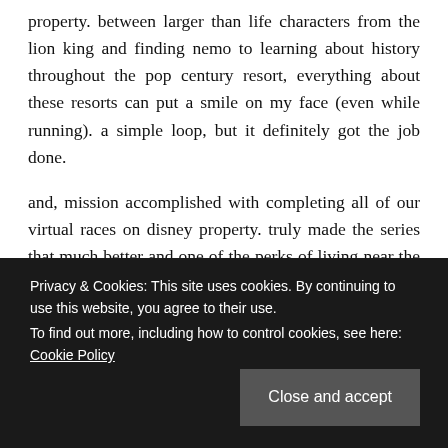property. between larger than life characters from the lion king and finding nemo to learning about history throughout the pop century resort, everything about these resorts can put a smile on my face (even while running). a simple loop, but it definitely got the job done.
and, mission accomplished with completing all of our virtual races on disney property. truly made the series that much better and one of the perks of living near the most magical place on earth. and since we've started running on property, we can't wait to try out a few other running routes around the other resorts. amazing how
Privacy & Cookies: This site uses cookies. By continuing to use this website, you agree to their use.
To find out more, including how to control cookies, see here: Cookie Policy